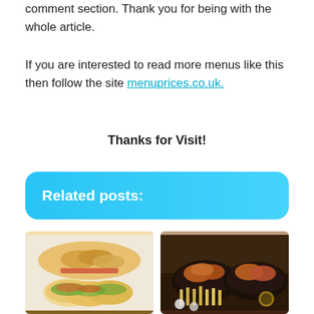comment section. Thank you for being with the whole article.
If you are interested to read more menus like this then follow the site menuprices.co.uk.
Thanks for Visit!
Related posts:
[Figure (photo): Two food photos side by side: left shows chicken tenders and tacos; right shows buffalo wings and fries in dark bowls.]